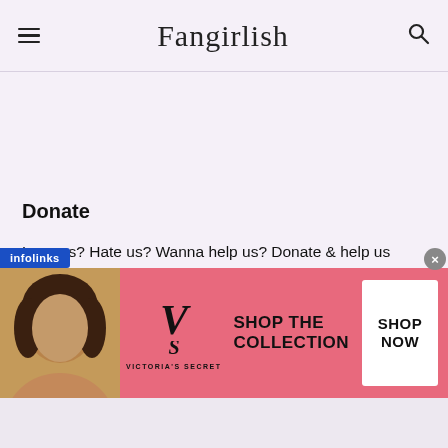Fangirlish
Donate
Love us? Hate us? Wanna help us? Donate & help us keep Fangirlish going strong!
$5.00
[Figure (screenshot): Quantity input box showing the number 1 with up/down arrows]
[Figure (photo): Victoria's Secret advertisement banner with a woman's photo, VS logo, text 'SHOP THE COLLECTION' and a 'SHOP NOW' button]